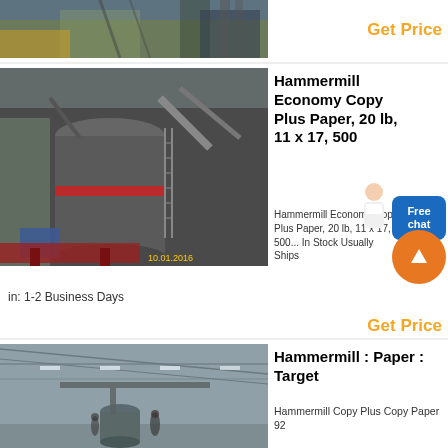[Figure (photo): Industrial facility exterior with conveyor systems and equipment, top portion of page]
Get Price
[Figure (photo): Industrial hammer mill / grinding machine, dated 10.01.2016]
Hammermill Economy Copy Plus Paper, 20 lb, 11 x 17, 500
Hammermill Economy Copy Plus Paper, 20 lb, 11 x 17, 500... In Stock Usually Ships in: 1-2 Business Days
Get Price
[Figure (photo): Industrial interior hall with overhead crane or lifting equipment]
Hammermill : Paper : Target
Hammermill Copy Plus Copy Paper 92